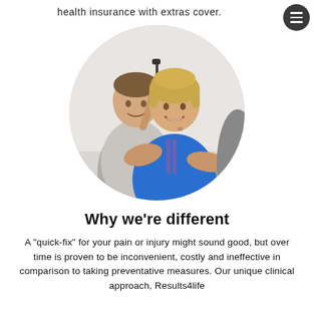health insurance with extras cover.
[Figure (photo): Circular cropped photo of a man holding a dumbbell and a woman in a blue athletic top, both smiling, in a gym setting.]
Why we're different
A "quick-fix" for your pain or injury might sound good, but over time is proven to be inconvenient, costly and ineffective in comparison to taking preventative measures. Our unique clinical approach, Results4life